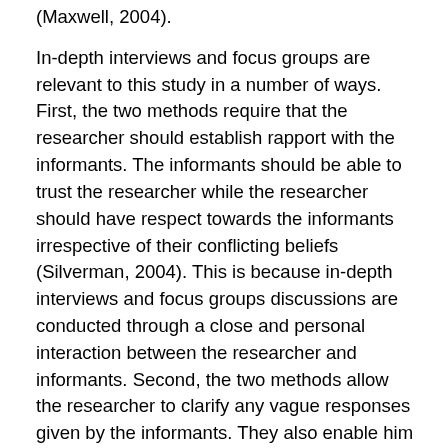(Maxwell, 2004).
In-depth interviews and focus groups are relevant to this study in a number of ways. First, the two methods require that the researcher should establish rapport with the informants. The informants should be able to trust the researcher while the researcher should have respect towards the informants irrespective of their conflicting beliefs (Silverman, 2004). This is because in-depth interviews and focus groups discussions are conducted through a close and personal interaction between the researcher and informants. Second, the two methods allow the researcher to clarify any vague responses given by the informants. They also enable him to dig deeper and probe further when he feels that the responses given are too short or inadequate and that the informants are holding back useful information. The informants also have the opportunity to provide additional information that they feel would be appropriate to the study (Charmaz,